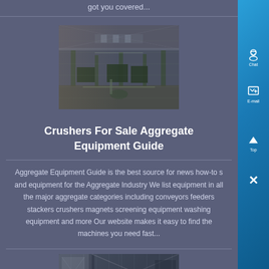got you covered...
[Figure (photo): Interior of a large industrial factory or warehouse with machinery and equipment visible along the floor, steel roof structure overhead, natural light from roof panels.]
Crushers For Sale Aggregate Equipment Guide
Aggregate Equipment Guide is the best source for news how-to s and equipment for the Aggregate Industry We list equipment in all the major aggregate categories including conveyors feeders stackers crushers magnets screening equipment washing equipment and more Our website makes it easy to find the machines you need fast...
[Figure (photo): Industrial facility interior showing structural steel beams and what appears to be heavy equipment or machinery, viewed from below with windows visible on the left side.]